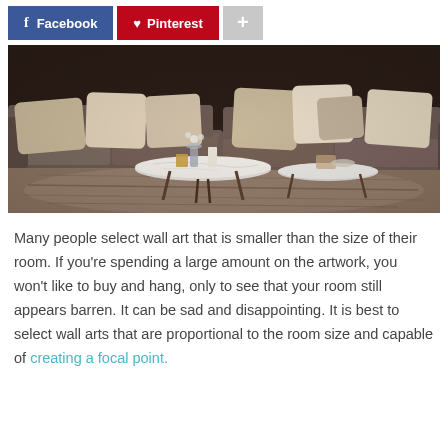[Figure (other): Social sharing buttons: Facebook (blue), Pinterest (red), and a grey plus button]
[Figure (photo): Interior room photo showing a modern living room with a large grey sectional sofa with beige/cream pillows, two round marble-top coffee tables with wooden legs, decorative items on the tables, and a patterned rug on the floor, against a dark brown wall]
Many people select wall art that is smaller than the size of their room. If you’re spending a large amount on the artwork, you won’t like to buy and hang, only to see that your room still appears barren. It can be sad and disappointing. It is best to select wall arts that are proportional to the room size and capable of creating a focal point.